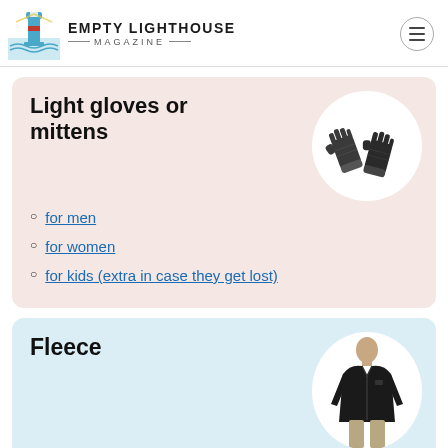EMPTY LIGHTHOUSE MAGAZINE
Light gloves or mittens
for men
for women
for kids (extra in case they get lost)
Fleece
for men
for women
for boys